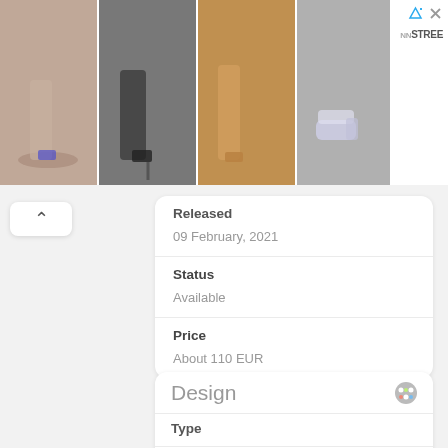[Figure (photo): Advertisement banner showing four shoe images (high heels and sneakers) with NNSTREE logo and close/more controls top right]
Released
09 February, 2021
Status
Available
Price
About 110 EUR
Design
Type
Bar